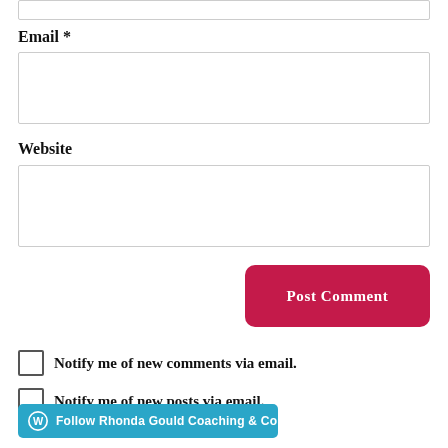Email *
Website
Post Comment
Notify me of new comments via email.
Notify me of new posts via email.
Follow Rhonda Gould Coaching & Consulting